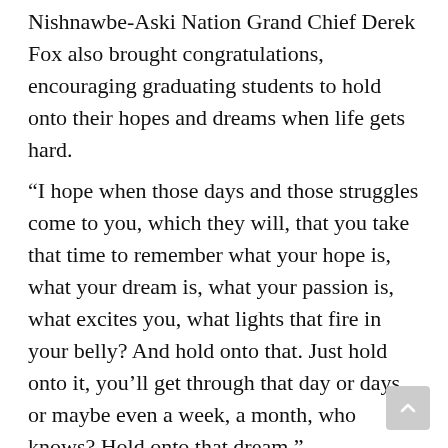Nishnawbe-Aski Nation Grand Chief Derek Fox also brought congratulations, encouraging graduating students to hold onto their hopes and dreams when life gets hard.
“I hope when those days and those struggles come to you, which they will, that you take that time to remember what your hope is, what your dream is, what your passion is, what excites you, what lights that fire in your belly? And hold onto that. Just hold onto it, you’ll get through that day or days or maybe even a week, a month, who knows? Hold onto that dream.”
Congratulations were also expressed by Sioux Lookout Deputy Mayor Joyce Timpson and by video, provincial NDP candidate Sol Mamakwa.
The convocation ceremony also included a celebration of life for Barry McLoughlin, a longtime PFFNHS teacher who recently passed away.
Students said it took a lot of hard work to achiev...